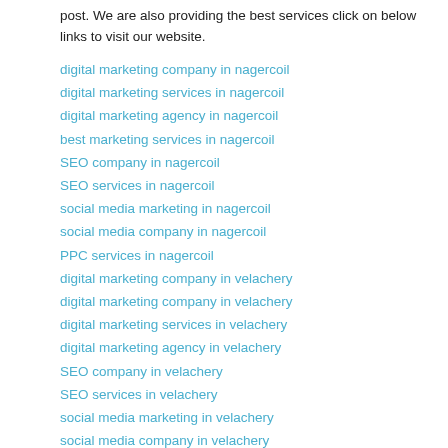post. We are also providing the best services click on below links to visit our website.
digital marketing company in nagercoil
digital marketing services in nagercoil
digital marketing agency in nagercoil
best marketing services in nagercoil
SEO company in nagercoil
SEO services in nagercoil
social media marketing in nagercoil
social media company in nagercoil
PPC services in nagercoil
digital marketing company in velachery
digital marketing company in velachery
digital marketing services in velachery
digital marketing agency in velachery
SEO company in velachery
SEO services in velachery
social media marketing in velachery
social media company in velachery
PPC services in velachery
online advertisement services in velachery